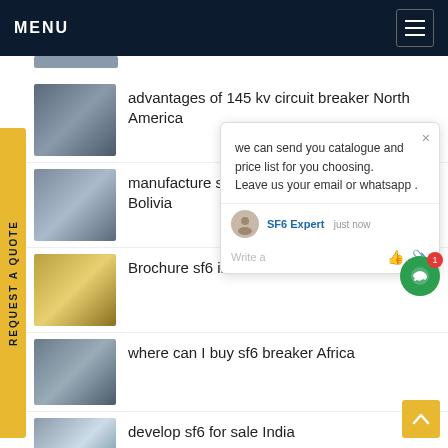MENU
advantages of 145 kv circuit breaker North America
manufacture sf6 gas se... equipment Bolivia
Brochure sf6 insulation b...
where can I buy sf6 breaker Africa
develop sf6 for sale India
110kv sf6 n2 Brazil